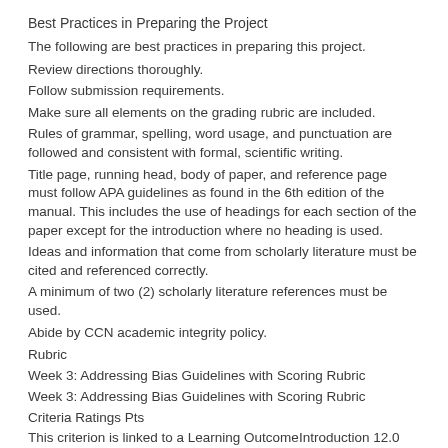Best Practices in Preparing the Project
The following are best practices in preparing this project.
Review directions thoroughly.
Follow submission requirements.
Make sure all elements on the grading rubric are included.
Rules of grammar, spelling, word usage, and punctuation are followed and consistent with formal, scientific writing.
Title page, running head, body of paper, and reference page must follow APA guidelines as found in the 6th edition of the manual. This includes the use of headings for each section of the paper except for the introduction where no heading is used.
Ideas and information that come from scholarly literature must be cited and referenced correctly.
A minimum of two (2) scholarly literature references must be used.
Abide by CCN academic integrity policy.
Rubric
Week 3: Addressing Bias Guidelines with Scoring Rubric
Week 3: Addressing Bias Guidelines with Scoring Rubric
Criteria Ratings Pts
This criterion is linked to a Learning OutcomeIntroduction 12.0 pts
Presentation of information is comprehensive and concise and includes all of the